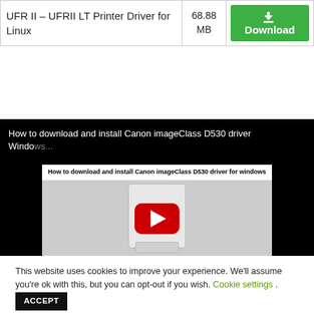| Name | Size |  |
| --- | --- | --- |
| UFR II – UFRII LT Printer Driver for Linux | 68.88 MB | Download |
[Figure (screenshot): YouTube video thumbnail: 'How to download and install Canon imageClass D530 driver Windows' showing a printer image with a red play button and supported OS list.]
This website uses cookies to improve your experience. We'll assume you're ok with this, but you can opt-out if you wish. Cookie settings . ACCEPT